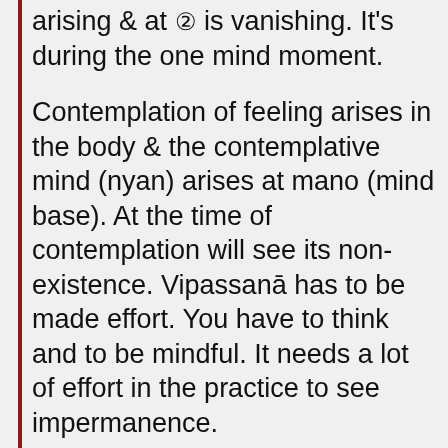arising & at ② is vanishing. It's during the one mind moment.
Contemplation of feeling arises in the body & the contemplative mind (nyan) arises at mano (mind base). At the time of contemplation will see its non-existence. Vipassanā has to be made effort. You have to think and to be mindful. It needs a lot of effort in the practice to see impermanence.
Therefore in the matter of seeing Nibbāna have to be worked hard & persevered. When in Nibbāna it's not tired. At the time of seeing arises is